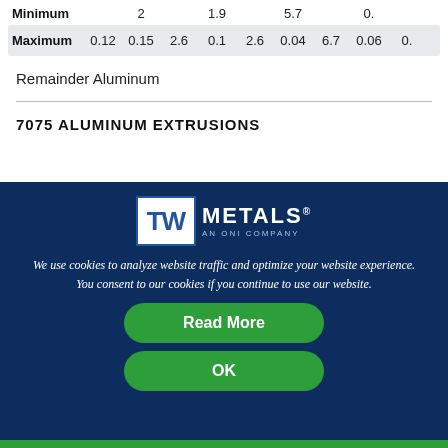|  |  |  |  |  |  |  |  |  |  |
| --- | --- | --- | --- | --- | --- | --- | --- | --- | --- |
| Minimum |  | 2 |  | 1.9 |  | 5.7 |  | 0. |
| Maximum | 0.12 | 0.15 | 2.6 | 0.1 | 2.6 | 0.04 | 6.7 | 0.06 | 0. |
Remainder Aluminum
7075 ALUMINUM EXTRUSIONS
[Figure (logo): TW Metals - An ONI Company logo, white text on dark navy background]
We use cookies to analyze website traffic and optimize your website experience. You consent to our cookies if you continue to use our website.
Read More
OK